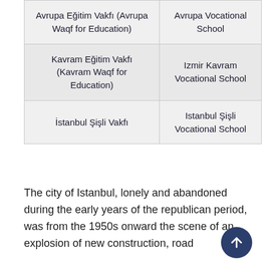| Avrupa Eğitim Vakfı (Avrupa Waqf for Education) | Avrupa Vocational School |
| Kavram Eğitim Vakfı (Kavram Waqf for Education) | Izmir Kavram Vocational School |
| İstanbul Şişli Vakfı | Istanbul Şişli Vocational School |
The city of Istanbul, lonely and abandoned during the early years of the republican period, was from the 1950s onward the scene of an explosion of new construction, road